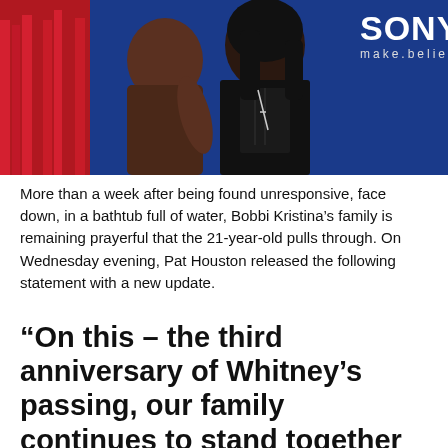[Figure (photo): Two women at a Sony event; Sony make.believe logo visible in upper right. Blue backdrop. One woman wears black sequined top with cross necklace; red fringe costume visible on left edge.]
More than a week after being found unresponsive, face down, in a bathtub full of water, Bobbi Kristina's family is remaining prayerful that the 21-year-old pulls through. On Wednesday evening, Pat Houston released the following statement with a new update.
“On this – the third anniversary of Whitney’s passing, our family continues to stand together praying that